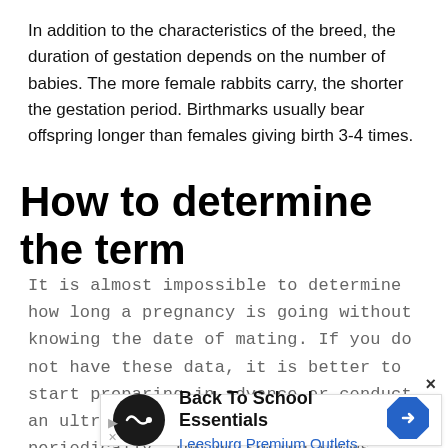In addition to the characteristics of the breed, the duration of gestation depends on the number of babies. The more female rabbits carry, the shorter the gestation period. Birthmarks usually bear offspring longer than females giving birth 3-4 times.
How to determine the term
It is almost impossible to determine how long a pregnancy is going without knowing the date of mating. If you do not have these data, it is better to start preparing in advance or conduct an ultrasound. Inspect the female periodically. The offspring shows signs of life in the womb on the 25th day of pregnancy.
[Figure (other): Advertisement banner: Back To School Essentials - Leesburg Premium Outlets, with circular logo and navigation arrow icon]